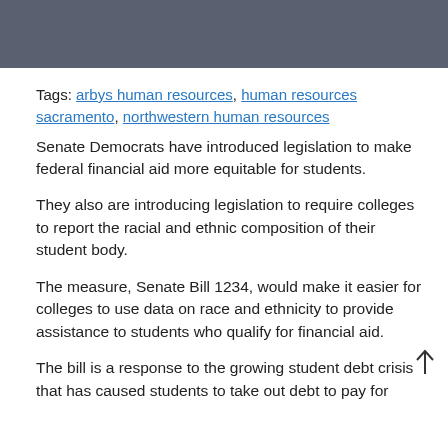Tags: arbys human resources, human resources sacramento, northwestern human resources
Senate Democrats have introduced legislation to make federal financial aid more equitable for students.
They also are introducing legislation to require colleges to report the racial and ethnic composition of their student body.
The measure, Senate Bill 1234, would make it easier for colleges to use data on race and ethnicity to provide assistance to students who qualify for financial aid.
The bill is a response to the growing student debt crisis that has caused students to take out debt to pay for